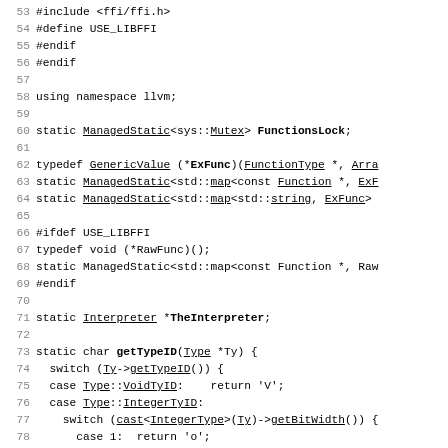Source code listing, lines 53–82, showing C++ code including ffi includes, using namespace llvm, ManagedStatic declarations, typedef for ExFunc and RawFunc, Interpreter declaration, and getTypeID function.